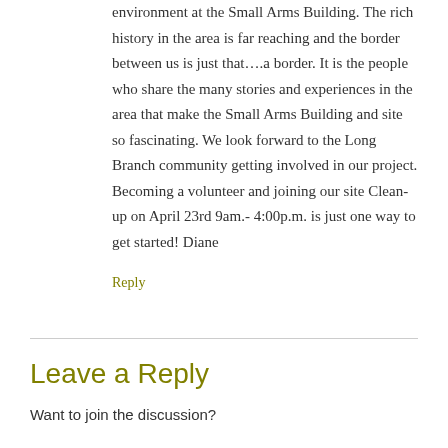environment at the Small Arms Building. The rich history in the area is far reaching and the border between us is just that….a border. It is the people who share the many stories and experiences in the area that make the Small Arms Building and site so fascinating. We look forward to the Long Branch community getting involved in our project. Becoming a volunteer and joining our site Clean-up on April 23rd 9am.- 4:00p.m. is just one way to get started! Diane
Reply
Leave a Reply
Want to join the discussion?